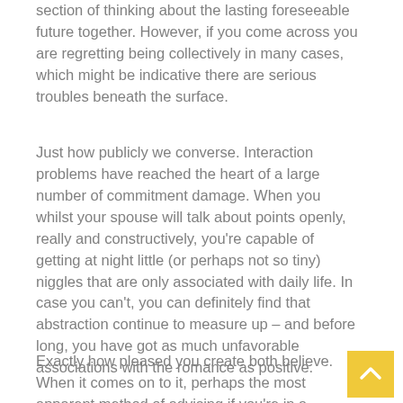section of thinking about the lasting foreseeable future together. However, if you come across you are regretting being collectively in many cases, which might be indicative there are serious troubles beneath the surface.
Just how publicly we converse. Interaction problems have reached the heart of a large number of commitment damage. When you whilst your spouse will talk about points openly, really and constructively, you’re capable of getting at night little (or perhaps not so tiny) niggles that are only associated with daily life. In case you can’t, you can definitely find that abstraction continue to measure up – and before long, you have got as much unfavorable associations with the romance as positive.
Exactly how pleased you create both believe. When it comes on to it, perhaps the most apparent method of advising if you’re in a